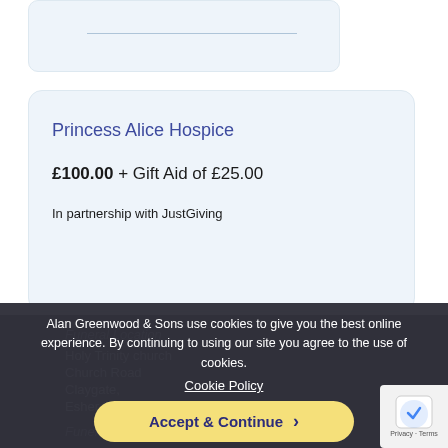[Figure (screenshot): Top card fragment with a horizontal line, partially visible at top of page]
Princess Alice Hospice
£100.00 + Gift Aid of £25.00
In partnership with JustGiving
Holy Trinity church
Church Road
Claygate,
Esher KT10 0...
Funeral Date ...
Alan Greenwood & Sons use cookies to give you the best online experience. By continuing to using our site you agree to the use of cookies.
Cookie Policy
Accept & Continue